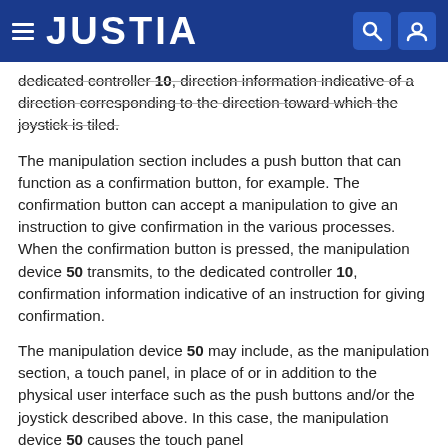JUSTIA
dedicated controller 10, direction information indicative of a direction corresponding to the direction toward which the joystick is tiled.
The manipulation section includes a push button that can function as a confirmation button, for example. The confirmation button can accept a manipulation to give an instruction to give confirmation in the various processes. When the confirmation button is pressed, the manipulation device 50 transmits, to the dedicated controller 10, confirmation information indicative of an instruction for giving confirmation.
The manipulation device 50 may include, as the manipulation section, a touch panel, in place of or in addition to the physical user interface such as the push buttons and/or the joystick described above. In this case, the manipulation device 50 causes the touch panel